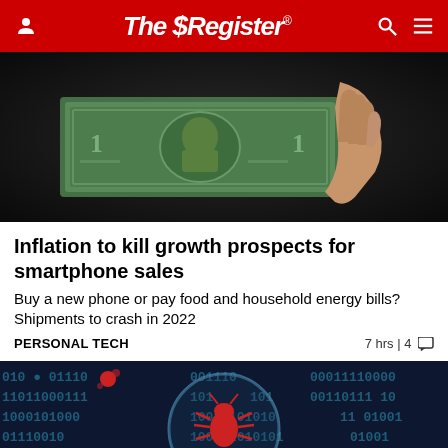The Register
[Figure (photo): A hand holding a US one dollar bill against a dark background]
Inflation to kill growth prospects for smartphone sales
Buy a new phone or pay food and household energy bills? Shipments to crash in 2022
PERSONAL TECH  7 hrs | 4 comments
[Figure (photo): Cybersecurity concept image showing binary code with a magnifying glass highlighting a bug/virus icon on a dark blue background]